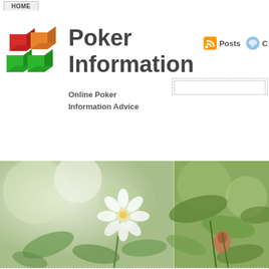HOME
Poker Information
Online Poker Information Advice
[Figure (photo): Nature/flower photo showing white flower with green leaves, blurred bokeh background, split into two panels]
Categories
Poker (832)
Archives
July 2022
June 2022
May 2022
April 2022
March 2022
Poker Stud Rules: Tricks for Poker Learning to Wager the Game
Recent Posts
Enjoy Net Poker
Newcomer Schemes for Pai Gow Poker
Biggest Poker Room
Have Fun Playing Poker Matches
Just Before you Tilt
Poker Web Site